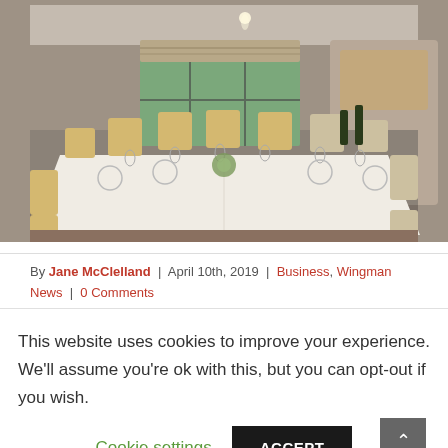[Figure (photo): Interior photo of a private dining room with a long rectangular table set for a formal dinner, surrounded by upholstered chairs, white tablecloth, wine glasses, and plates. Windows with Roman blinds visible in the background.]
By Jane McClelland | April 10th, 2019 | Business, Wingman News | 0 Comments
This website uses cookies to improve your experience. We'll assume you're ok with this, but you can opt-out if you wish. Cookie settings ACCEPT